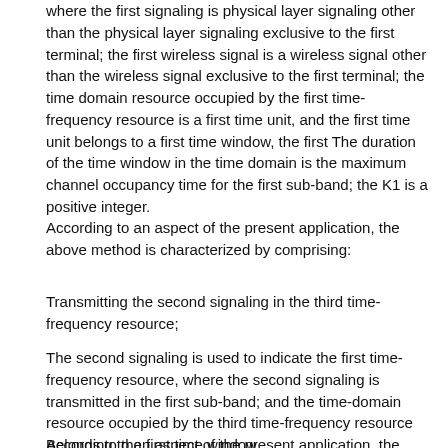where the first signaling is physical layer signaling other than the physical layer signaling exclusive to the first terminal; the first wireless signal is a wireless signal other than the wireless signal exclusive to the first terminal; the time domain resource occupied by the first time-frequency resource is a first time unit, and the first time unit belongs to a first time window, the first The duration of the time window in the time domain is the maximum channel occupancy time for the first sub-band; the K1 is a positive integer.
According to an aspect of the present application, the above method is characterized by comprising:
Transmitting the second signaling in the third time-frequency resource;
The second signaling is used to indicate the first time-frequency resource, where the second signaling is transmitted in the first sub-band; and the time-domain resource occupied by the third time-frequency resource Belongs to the first time window.
According to an aspect of the present application, the above method is characterized by comprising: